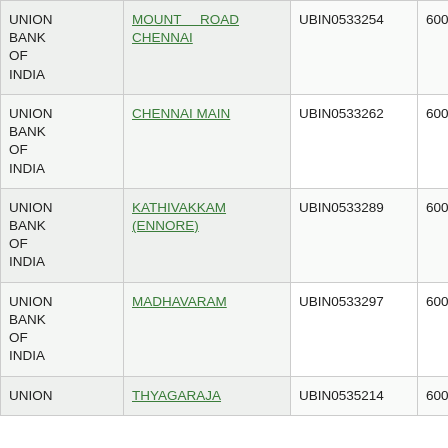| UNION BANK OF INDIA | MOUNT ROAD CHENNAI | UBIN0533254 | 600026004 |
| UNION BANK OF INDIA | CHENNAI MAIN | UBIN0533262 | 600026002 |
| UNION BANK OF INDIA | KATHIVAKKAM (ENNORE) | UBIN0533289 | 600026014 |
| UNION BANK OF INDIA | MADHAVARAM | UBIN0533297 | 600026015 |
| UNION BANK OF INDIA | THYAGARAJA | UBIN0535214 | 600026007 |